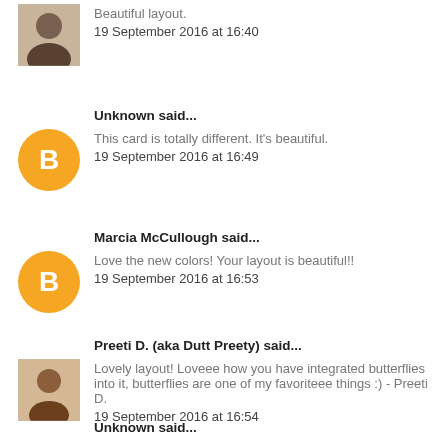Beautiful layout.
19 September 2016 at 16:40
Unknown said...
This card is totally different. It's beautiful.
19 September 2016 at 16:49
Marcia McCullough said...
Love the new colors! Your layout is beautiful!!
19 September 2016 at 16:53
Preeti D. (aka Dutt Preety) said...
Lovely layout! Loveee how you have integrated butterflies into it, butterflies are one of my favoriteee things :) - Preeti D.
19 September 2016 at 16:54
Unknown said...